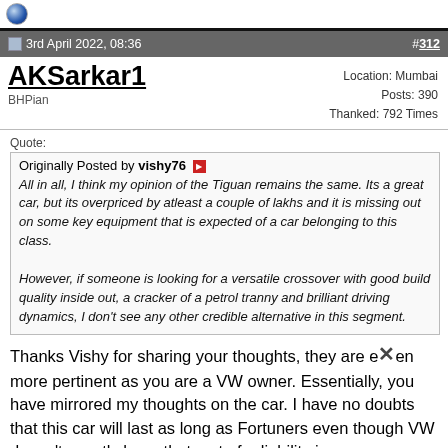3rd April 2022, 08:36 | #312
AKSarkar1
BHPian
Location: Mumbai
Posts: 390
Thanked: 792 Times
Quote:
Originally Posted by vishy76
All in all, I think my opinion of the Tiguan remains the same. Its a great car, but its overpriced by atleast a couple of lakhs and it is missing out on some key equipment that is expected of a car belonging to this class.

However, if someone is looking for a versatile crossover with good build quality inside out, a cracker of a petrol tranny and brilliant driving dynamics, I don't see any other credible alternative in this segment.
Thanks Vishy for sharing your thoughts, they are even more pertinent as you are a VW owner. Essentially, you have mirrored my thoughts on the car. I have no doubts that this car will last as long as Fortuners even though VW doesn't exactly have that sort of reliability image.